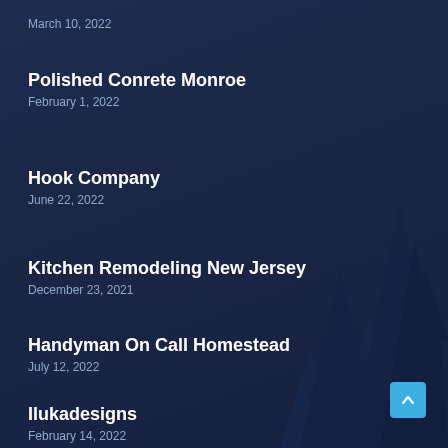March 10, 2022
Polished Conrete Monroe
February 1, 2022
Hook Company
June 22, 2022
Kitchen Remodeling New Jersey
December 23, 2021
Handyman On Call Homestead
July 12, 2022
Ilukadesigns
February 14, 2022